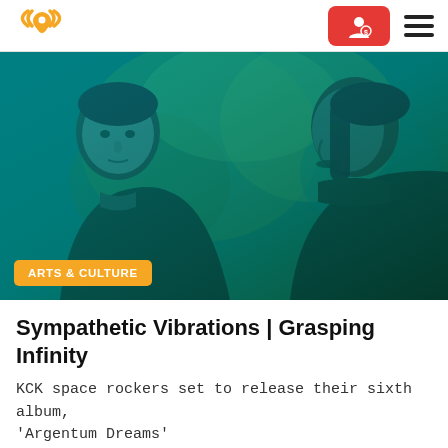[Figure (photo): Two men with teal/green color-tinted photo effect, appearing to be band members. An orange badge reads ARTS & CULTURE in the lower left corner.]
Sympathetic Vibrations | Grasping Infinity
KCK space rockers set to release their sixth album, 'Argentum Dreams'